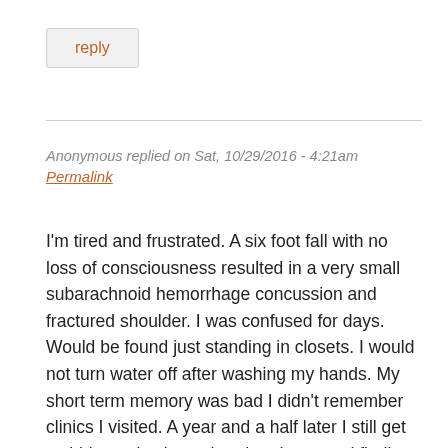reply
Anonymous replied on Sat, 10/29/2016 - 4:21am
Permalink
I'm tired and frustrated.  A six foot fall with no loss of consciousness resulted in a very small subarachnoid hemorrhage concussion and fractured shoulder.  I was confused for days.  Would be found just standing in closets. I would not turn water off after washing my hands.  My short term memory was bad I didn't remember clinics I visited.  A year and a half later I still get stabbing pains in my head and my word finding and recall is terrible.  I have been told by a " concussion specialist ". There is no way this can be related to the TBI as there is